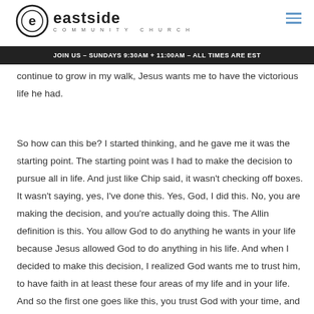eastside COMMUNITY CHURCH
JOIN US – SUNDAYS 9:30AM + 11:00AM – ALL TIMES ARE EST
continue to grow in my walk, Jesus wants me to have the victorious life he had.
So how can this be? I started thinking, and he gave me it was the starting point. The starting point was I had to make the decision to pursue all in life. And just like Chip said, it wasn't checking off boxes. It wasn't saying, yes, I've done this. Yes, God, I did this. No, you are making the decision, and you're actually doing this. The Allin definition is this. You allow God to do anything he wants in your life because Jesus allowed God to do anything in his life. And when I decided to make this decision, I realized God wants me to trust him, to have faith in at least these four areas of my life and in your life. And so the first one goes like this, you trust God with your time, and